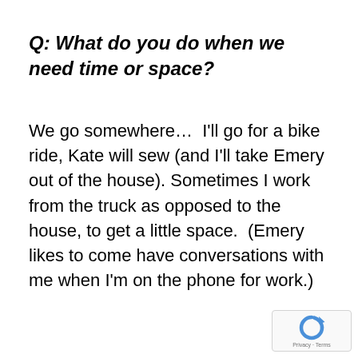Q: What do you do when we need time or space?
We go somewhere…  I'll go for a bike ride, Kate will sew (and I'll take Emery out of the house). Sometimes I work from the truck as opposed to the house, to get a little space.  (Emery likes to come have conversations with me when I'm on the phone for work.)
[Figure (logo): reCAPTCHA logo with Privacy and Terms text]